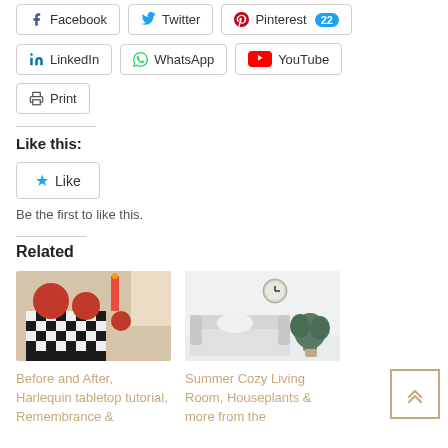[Figure (screenshot): Social sharing buttons row: Facebook, Twitter, Pinterest (with badge 22), LinkedIn, WhatsApp, YouTube, Print]
Like this:
[Figure (screenshot): Like button with blue star icon and text 'Like']
Be the first to like this.
Related
[Figure (photo): Related article image - harlequin tabletop with fruits on chess board]
Before and After, Harlequin tabletop tutorial, Remembrance &
[Figure (photo): Related article image - cozy living room with white sofa and plants]
Summer Cozy Living Room, Houseplants & more from the